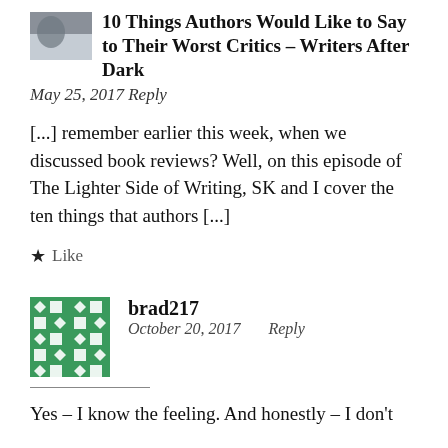10 Things Authors Would Like to Say to Their Worst Critics – Writers After Dark
May 25, 2017 Reply
[...] remember earlier this week, when we discussed book reviews? Well, on this episode of The Lighter Side of Writing, SK and I cover the ten things that authors [...]
★ Like
brad217
October 20, 2017   Reply
Yes – I know the feeling. And honestly – I don't